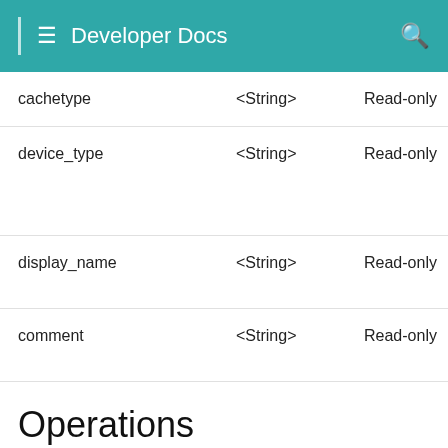Developer Docs
|  | <String> | Read-only |  |
| --- | --- | --- | --- |
| cachetype | <String> | Read-only | Cac |
| device_type | <String> | Read-only | De
vpx
sdv
cpx |
| display_name | <String> | Read-only | Dis
of \  |
| comment | <String> | Read-only | Vse
con |
Operations